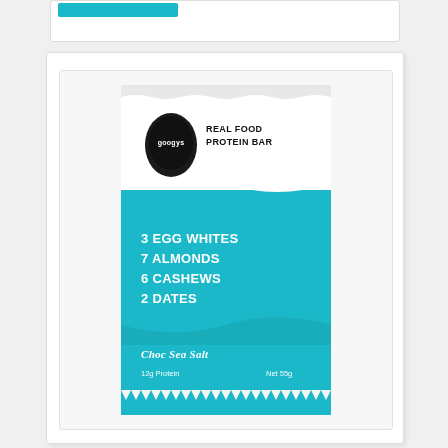[Figure (photo): Product packaging for Googys Real Food Protein Bar, Choc Sea Salt flavor. Blue and white wrapper showing: 3 Egg Whites, 7 Almonds, 6 Cashews, 2 Dates. 12g Protein, Net 55g.]